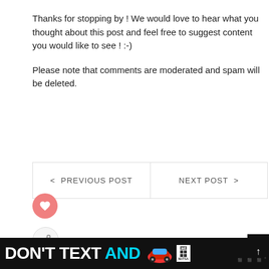Thanks for stopping by ! We would love to hear what you thought about this post and feel free to suggest content you would like to see ! :-)
Please note that comments are moderated and spam will be deleted.
< PREVIOUS POST
NEXT POST >
SHOP THIS BLOG
WHAT'S NEXT → DIY No-Sew Christmas...
DON'T TEXT AND